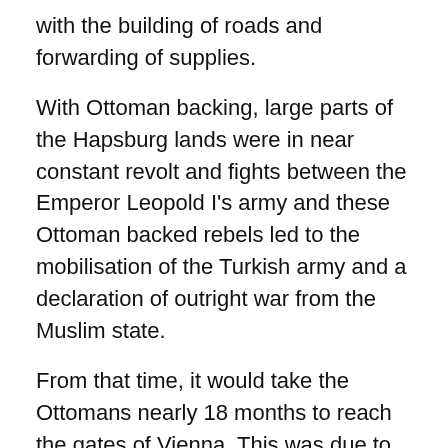with the building of roads and forwarding of supplies.
With Ottoman backing, large parts of the Hapsburg lands were in near constant revolt and fights between the Emperor Leopold I's army and these Ottoman backed rebels led to the mobilisation of the Turkish army and a declaration of outright war from the Muslim state.
From that time, it would take the Ottomans nearly 18 months to reach the gates of Vienna. This was due to the time it took to mobilize their full strength, wait for good weather to speed their march and to actually get from Thrace to Austria.
That 18 month period was not wasted by the Viennese. Led by Ernst Rudiger Graf von Starhemburg, they commenced a major reform of their defensive structures and modernisation of military principles. This in turn also